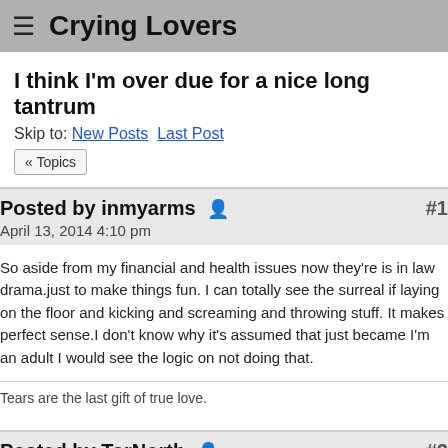Crying Lovers
I think I'm over due for a nice long tantrum
Skip to: New Posts  Last Post
« Topics
Posted by inmyarms  #1
April 13, 2014 4:10 pm
So aside from my financial and health issues now they're is in law drama.just to make things fun. I can totally see the surreal if laying on the floor and kicking and screaming and throwing stuff. It makes perfect sense.I don't know why it's assumed that just became I'm an adult I would see the logic on not doing that.
Tears are the last gift of true love.
Posted by TorNorth  #2
April 13, 2014 7:39 pm